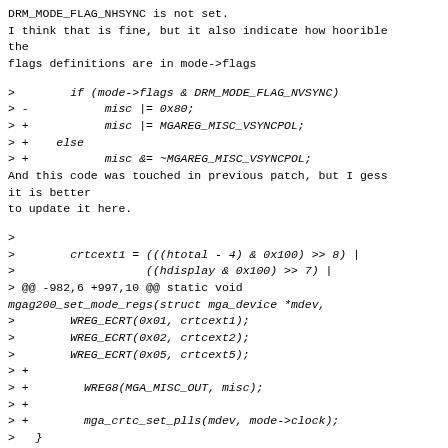DRM_MODE_FLAG_NHSYNC is not set.
I think that is fine, but it also indicate how hoorible the
flags definitions are in mode->flags
>        if (mode->flags & DRM_MODE_FLAG_NVSYNC)
> -            misc |= 0x80;
> +            misc |= MGAREG_MISC_VSYNCPOL;
> +     else
> +            misc &= ~MGAREG_MISC_VSYNCPOL;
And this code was touched in previous patch, but I gess it is better
to update it here.
>
>        crtcext1 = (((htotal - 4) & 0x100) >> 8) |
>                    ((hdisplay & 0x100) >> 7) |
> @@ -982,6 +997,10 @@ static void mgag200_set_mode_regs(struct mga_device *mdev,
>        WREG_ECRT(0x01, crtcext1);
>        WREG_ECRT(0x02, crtcext2);
>        WREG_ECRT(0x05, crtcext5);
> +
> +        WREG8(MGA_MISC_OUT, misc);
> +
> +        mga_crtc_set_plls(mdev, mode->clock);
>   }
>
>   static int mga_crtc_mode_set(struct drm_crtc *crtc,